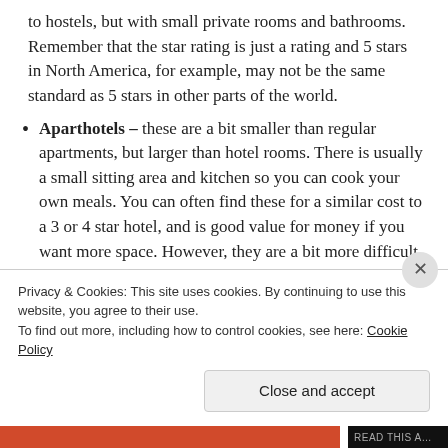to hostels, but with small private rooms and bathrooms. Remember that the star rating is just a rating and 5 stars in North America, for example, may not be the same standard as 5 stars in other parts of the world.
Aparthotels – these are a bit smaller than regular apartments, but larger than hotel rooms. There is usually a small sitting area and kitchen so you can cook your own meals. You can often find these for a similar cost to a 3 or 4 star hotel, and is good value for money if you want more space. However, they are a bit more difficult to find and are often located outside of the city centre. They are managed just as a hotel would
Privacy & Cookies: This site uses cookies. By continuing to use this website, you agree to their use. To find out more, including how to control cookies, see here: Cookie Policy